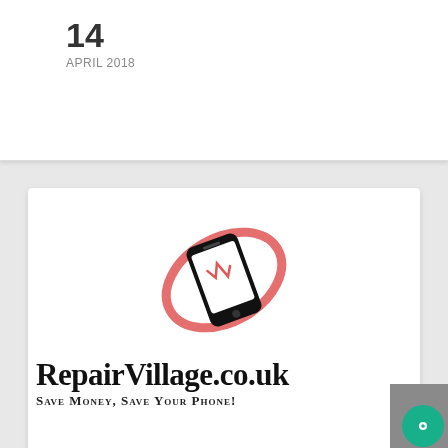14
APRIL 2018
[Figure (logo): RepairVillage.co.uk logo with a smartphone graphic and red circular swoosh, with text 'RepairVillage.co.uk' and tagline 'Save Money, Save Your Phone!']
22
MAY 2017
Choosing the right repair shop for you.
BY ADMIN